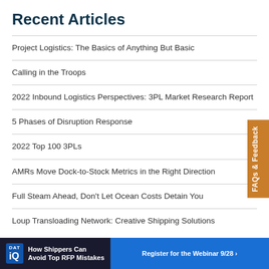Recent Articles
Project Logistics: The Basics of Anything But Basic
Calling in the Troops
2022 Inbound Logistics Perspectives: 3PL Market Research Report
5 Phases of Disruption Response
2022 Top 100 3PLs
AMRs Move Dock-to-Stock Metrics in the Right Direction
Full Steam Ahead, Don't Let Ocean Costs Detain You
Loup Transloading Network: Creative Shipping Solutions
[Figure (infographic): Advertisement banner: DAT IQ - How Shippers Can Avoid Top RFP Mistakes. Register for the Webinar 9/28 button on right.]